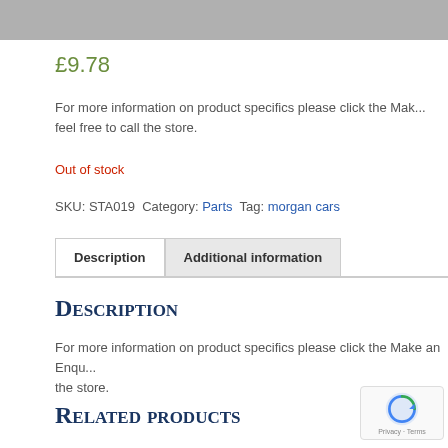[Figure (photo): Gray image bar at top of product page]
£9.78
For more information on product specifics please click the Make an Enquiry button or feel free to call the store.
Out of stock
SKU: STA019  Category: Parts  Tag: morgan cars
Description | Additional information (tabs)
Description
For more information on product specifics please click the Make an Enquiry button or feel free to call the store.
Related products